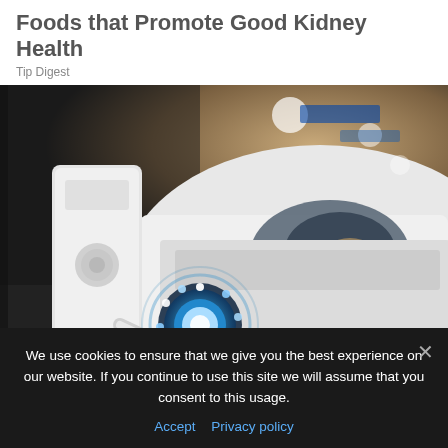Foods that Promote Good Kidney Health
Tip Digest
[Figure (photo): Close-up photo of an electric vehicle charging port with a blue-lit charging connector plugged into a white car at a charging station]
We use cookies to ensure that we give you the best experience on our website. If you continue to use this site we will assume that you consent to this usage.
Accept   Privacy policy